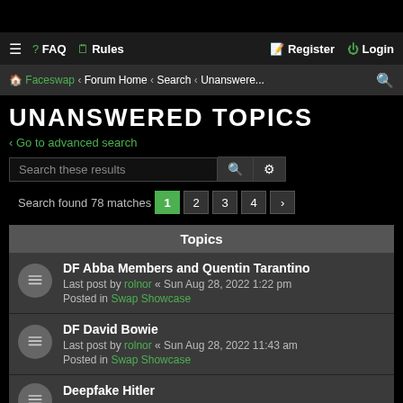≡ ? FAQ Rules | Register Login
Faceswap · Forum Home · Search · Unanswere...
UNANSWERED TOPICS
< Go to advanced search
Search these results [search icon] [gear icon]
Search found 78 matches  1  2  3  4  >
Topics
DF Abba Members and Quentin Tarantino
Last post by rolnor « Sun Aug 28, 2022 1:22 pm
Posted in Swap Showcase
DF David Bowie
Last post by rolnor « Sun Aug 28, 2022 11:43 am
Posted in Swap Showcase
Deepfake Hitler